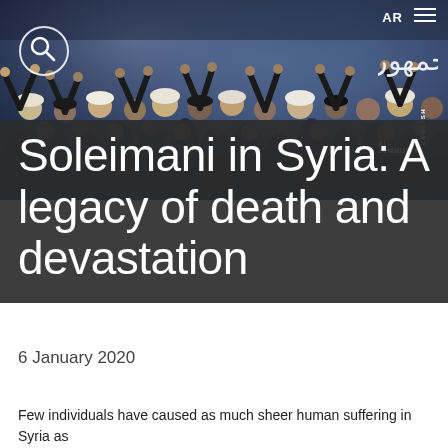[Figure (photo): Crowd of people with raised hands and arms, appearing to be at a rally or religious gathering, with dark clothing and some wearing turbans or religious dress. Dark overlay with text overlaid on top.]
Soleimani in Syria: A legacy of death and devastation
6 January 2020
Few individuals have caused as much sheer human suffering in Syria as